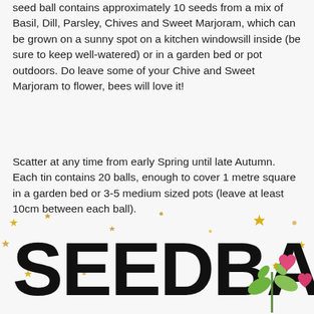seed ball contains approximately 10 seeds from a mix of Basil, Dill, Parsley, Chives and Sweet Marjoram, which can be grown on a sunny spot on a kitchen windowsill inside (be sure to keep well-watered) or in a garden bed or pot outdoors. Do leave some of your Chive and Sweet Marjoram to flower, bees will love it!
Scatter at any time from early Spring until late Autumn. Each tin contains 20 balls, enough to cover 1 metre square in a garden bed or 3-5 medium sized pots (leave at least 10cm between each ball).
[Figure (logo): SEEDBALL logo in large bold black letters with decorative gold stars and a floral illustration of green leaves and pink hearts on the right side]